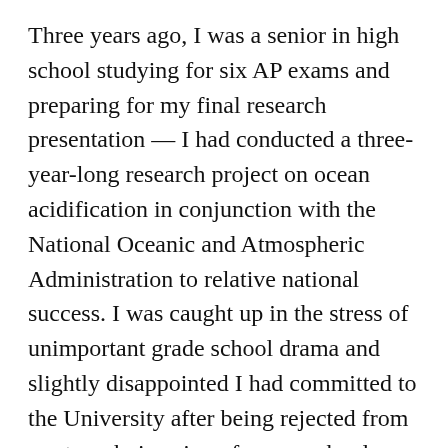Three years ago, I was a senior in high school studying for six AP exams and preparing for my final research presentation — I had conducted a three-year-long research project on ocean acidification in conjunction with the National Oceanic and Atmospheric Administration to relative national success. I was caught up in the stress of unimportant grade school drama and slightly disappointed I had committed to the University after being rejected from my top-choice-since-forever school, Yale University.
I was a smart kid (4.1 GPA), from a great family — my sister is my best friend — and participated in so many after-school activities